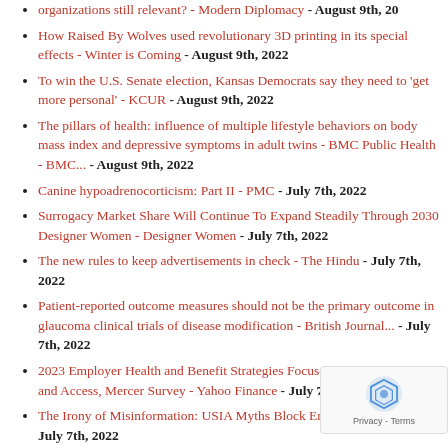organizations still relevant? - Modern Diplomacy - August 9th, 2022
How Raised By Wolves used revolutionary 3D printing in its special effects - Winter is Coming - August 9th, 2022
To win the U.S. Senate election, Kansas Democrats say they need to 'get more personal' - KCUR - August 9th, 2022
The pillars of health: influence of multiple lifestyle behaviors on body mass index and depressive symptoms in adult twins - BMC Public Health - BMC... - August 9th, 2022
Canine hypoadrenocorticism: Part II - PMC - July 7th, 2022
Surrogacy Market Share Will Continue To Expand Steadily Through 2030 Designer Women - Designer Women - July 7th, 2022
The new rules to keep advertisements in check - The Hindu - July 7th, 2022
Patient-reported outcome measures should not be the primary outcome in glaucoma clinical trials of disease modification - British Journal... - July 7th, 2022
2023 Employer Health and Benefit Strategies Focused on Affordability and Access, Mercer Survey - Yahoo Finance - July 7th, 2022
The Irony of Misinformation: USIA Myths Block Em... - 19FortyFive - July 7th, 2022